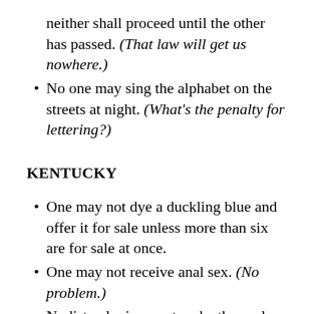neither shall proceed until the other has passed. (That law will get us nowhere.)
No one may sing the alphabet on the streets at night. (What's the penalty for lettering?)
KENTUCKY
One may not dye a duckling blue and offer it for sale unless more than six are for sale at once.
One may not receive anal sex. (No problem.)
Nudist colonies must make themselves available for inspection by the local sheriff.